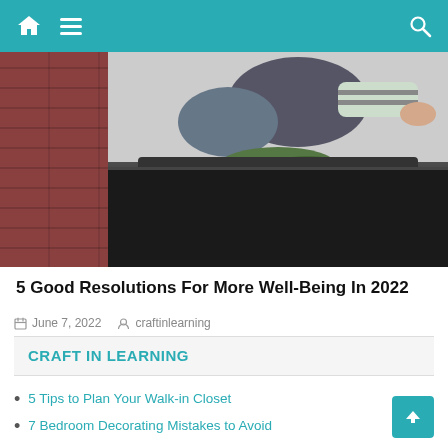Navigation bar with home icon, hamburger menu, and search icon
[Figure (photo): Left: brick wall photo. Right: person sitting on an overpacked black suitcase trying to close it, clothing spilling out]
5 Good Resolutions For More Well-Being In 2022
June 7, 2022   craftinlearning
CRAFT IN LEARNING
5 Tips to Plan Your Walk-in Closet
7 Bedroom Decorating Mistakes to Avoid
Bathroom Tiles
Decorate Living Room like a Pro
Decorate Your Apartment Cleverly
Decorating Ideas for Creatively Designed Rooms